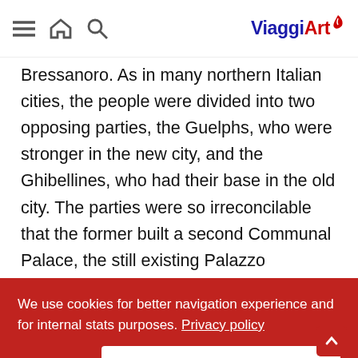ViaggiArt — navigation bar with menu, home, search icons and ViaggiArt logo
Bressanoro. As in many northern Italian cities, the people were divided into two opposing parties, the Guelphs, who were stronger in the new city, and the Ghibellines, who had their base in the old city. The parties were so irreconcilable that the former built a second Communal Palace, the still existing Palazzo Cittanova ("new city's palace"). When Frederick … s … o
subsequent victory and its loyal imperial
We use cookies for better navigation experience and for internal stats purposes. Privacy policy
I Got it!    Accetto